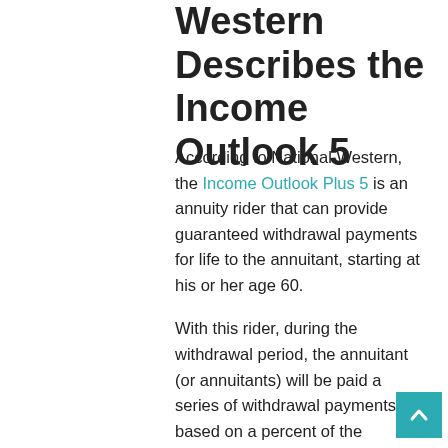Western Describes the Income Outlook 5
According to National Western, the Income Outlook Plus 5 is an annuity rider that can provide guaranteed withdrawal payments for life to the annuitant, starting at his or her age 60.
With this rider, during the withdrawal period, the annuitant (or annuitants) will be paid a series of withdrawal payments based on a percent of the withdrawal payment base when the period begins. These payments are deducted from the base annuity policy's account value. And, they are guaranteed for life. This in turn...